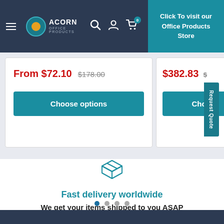Acorn Office Products — Navigation bar with logo, search, account, cart icons
Click To visit our Office Products Store
From $72.10  $178.00
Choose options
$382.83
Cho...
Request Quote
[Figure (illustration): Teal outline package/box icon]
Fast delivery worldwide
We get your items shipped to you ASAP